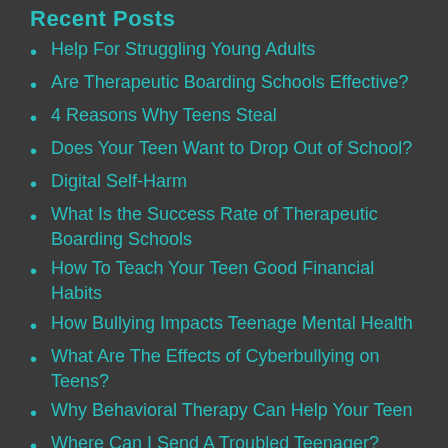Recent Posts
Help For Struggling Young Adults
Are Therapeutic Boarding Schools Effective?
4 Reasons Why Teens Steal
Does Your Teen Want to Drop Out of School?
Digital Self-Harm
What Is the Success Rate of Therapeutic Boarding Schools
How To Teach Your Teen Good Financial Habits
How Bullying Impacts Teenage Mental Health
What Are The Effects of Cyberbullying on Teens?
Why Behavioral Therapy Can Help Your Teen
Where Can I Send A Troubled Teenager?
What Causes Teenage Mental Health Issues?